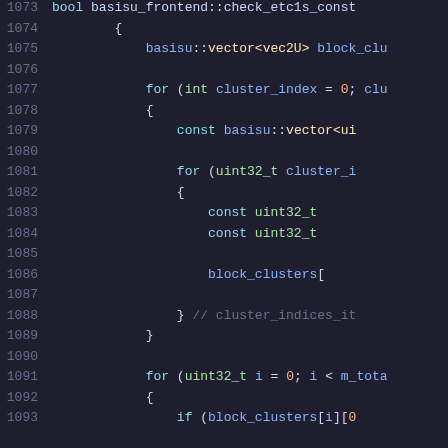[Figure (screenshot): Source code screenshot showing C++ code for basisu_frontend::check_etc1s_const function, lines 1073-1093, with syntax highlighting on dark background. Keywords in cyan, types in green, variables in blue, numbers in orange, comments in gray.]